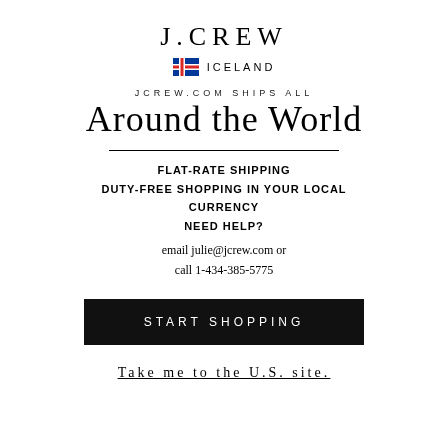J.CREW
🇮🇸 ICELAND
JCREW.COM SHIPS ALL
Around the World
FLAT-RATE SHIPPING
DUTY-FREE SHOPPING IN YOUR LOCAL CURRENCY
NEED HELP?
email julie@jcrew.com or
call 1-434-385-5775
START SHOPPING
Take me to the U.S. site.